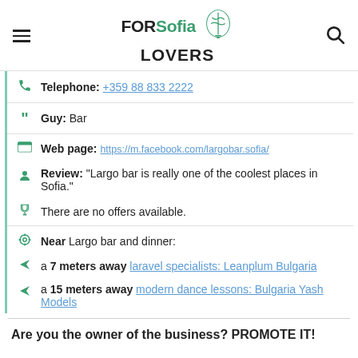FOR Sofia LOVERS
Telephone: +359 88 833 2222
Guy: Bar
Web page: https://m.facebook.com/largobar.sofia/
Review: "Largo bar is really one of the coolest places in Sofia."
There are no offers available.
Near Largo bar and dinner:
a 7 meters away laravel specialists: Leanplum Bulgaria
a 15 meters away modern dance lessons: Bulgaria Yash Models
Are you the owner of the business? PROMOTE IT!